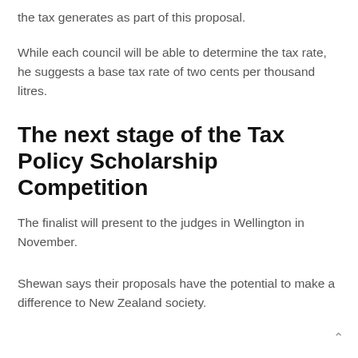the tax generates as part of this proposal.
While each council will be able to determine the tax rate, he suggests a base tax rate of two cents per thousand litres.
The next stage of the Tax Policy Scholarship Competition
The finalist will present to the judges in Wellington in November.
Shewan says their proposals have the potential to make a difference to New Zealand society.